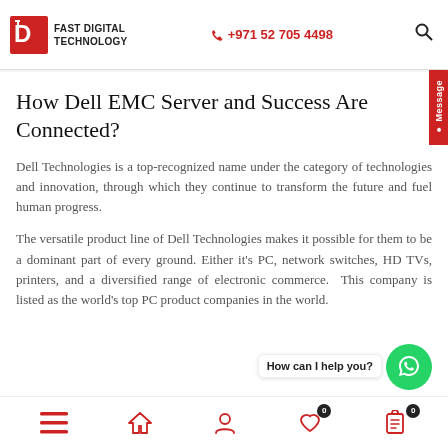FAST DIGITAL TECHNOLOGY | +971 52 705 4498
How Dell EMC Server and Success Are Connected?
Dell Technologies is a top-recognized name under the category of technologies and innovation, through which they continue to transform the future and fuel human progress.
The versatile product line of Dell Technologies makes it possible for them to be a dominant part of every ground. Either it's PC, network switches, HD TVs, printers, and a diversified range of electronic commerce. This company is listed as the world's top PC product companies in the world.
Navigation bar with menu, home, user, wishlist (0), orders (0)